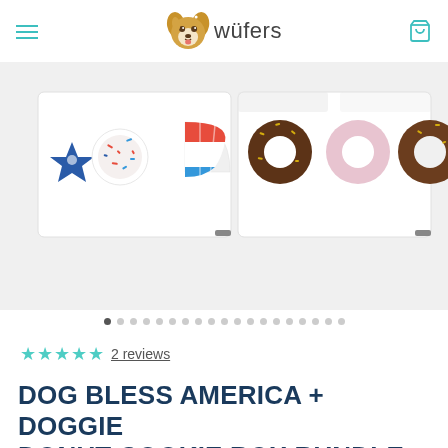wüfers
[Figure (photo): Two white boxes of dog treats and donuts side by side. Left box contains patriotic American flag themed dog cookies (star shapes, round cookies with red/white/blue sprinkles, round fan-shaped cookie). Right box contains donut-shaped dog treats with chocolate and pink glazing and gold sprinkles.]
★★★★★ 2 reviews
DOG BLESS AMERICA + DOGGIE DONUT COOKIE BOX BUNDLE